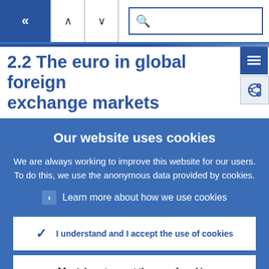[Figure (screenshot): Navigation bar with back arrows, up/down navigation arrows, and search input field]
2.2 The euro in global foreign exchange markets
Our website uses cookies
We are always working to improve this website for our users. To do this, we use the anonymous data provided by cookies.
Learn more about how we use cookies
I understand and I accept the use of cookies
I do not accept the use of cookies